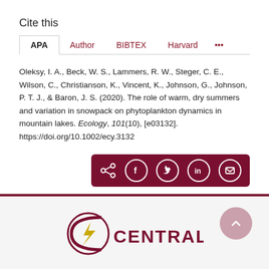Cite this
APA | Author | BIBTEX | Harvard | ...
Oleksy, I. A., Beck, W. S., Lammers, R. W., Steger, C. E., Wilson, C., Christianson, K., Vincent, K., Johnson, G., Johnson, P. T. J., & Baron, J. S. (2020). The role of warm, dry summers and variation in snowpack on phytoplankton dynamics in mountain lakes. Ecology, 101(10), [e03132]. https://doi.org/10.1002/ecy.3132
[Figure (other): Social share bar with icons for share, Facebook, Twitter, LinkedIn, and email on dark red background]
[Figure (logo): Central Michigan University logo with stylized torch icon and the word CENTRAL in dark red]